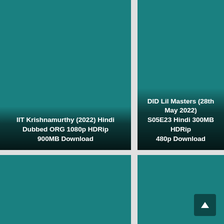[Figure (illustration): Teal/dark-cyan placeholder thumbnail for IIT Krishnamurthy (2022) movie]
IIT Krishnamurthy (2022) Hindi Dubbed ORG 1080p HDRip 900MB Download
[Figure (illustration): Teal/dark-cyan placeholder thumbnail for DID Lil Masters episode]
DID Lil Masters (28th May 2022) S05E23 Hindi 300MB HDRip 480p Download
[Figure (illustration): Teal/dark-cyan placeholder thumbnail (bottom left)]
[Figure (illustration): Teal/dark-cyan placeholder thumbnail (bottom right) with scroll-to-top button]